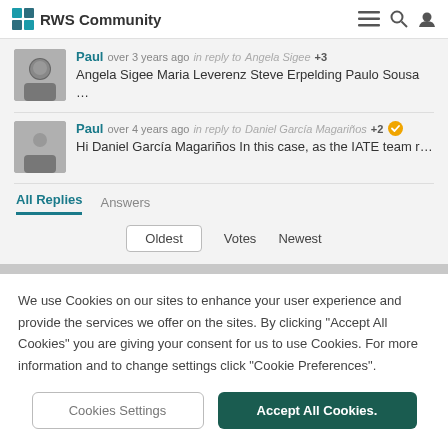RWS Community
Paul over 3 years ago in reply to Angela Sigee +3
Angela Sigee Maria Leverenz Steve Erpelding Paulo Sousa …
Paul over 4 years ago in reply to Daniel García Magariños +2
Hi Daniel García Magariños In this case, as the IATE team r…
All Replies  Answers
Oldest  Votes  Newest
We use Cookies on our sites to enhance your user experience and provide the services we offer on the sites. By clicking "Accept All Cookies" you are giving your consent for us to use Cookies. For more information and to change settings click "Cookie Preferences".
Cookies Settings
Accept All Cookies.